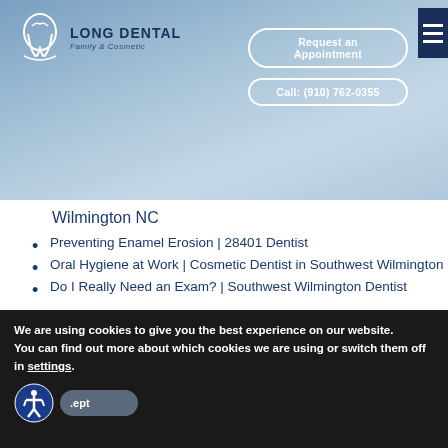[Figure (logo): Long Dental Family & Cosmetic logo with tooth icon]
Request an Appointment
Call: (910) 762-0355
Wilmington NC
Preventing Enamel Erosion | 28401 Dentist
Oral Hygiene at Work | Cosmetic Dentist in Southwest Wilmington
Do I Really Need an Exam? | Southwest Wilmington Dentist
Recent Comments
We are using cookies to give you the best experience on our website.
You can find out more about which cookies we are using or switch them off in settings.